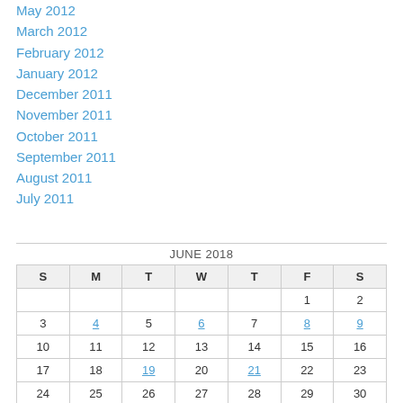May 2012
March 2012
February 2012
January 2012
December 2011
November 2011
October 2011
September 2011
August 2011
July 2011
| S | M | T | W | T | F | S |
| --- | --- | --- | --- | --- | --- | --- |
|  |  |  |  |  | 1 | 2 |
| 3 | 4 | 5 | 6 | 7 | 8 | 9 |
| 10 | 11 | 12 | 13 | 14 | 15 | 16 |
| 17 | 18 | 19 | 20 | 21 | 22 | 23 |
| 24 | 25 | 26 | 27 | 28 | 29 | 30 |